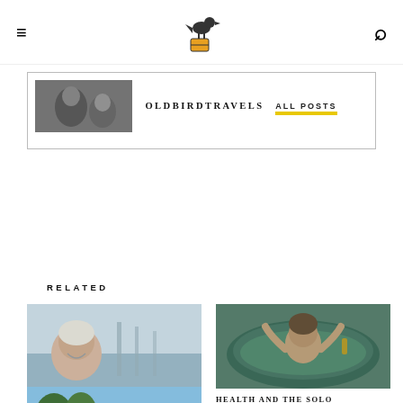OldBirdTravels navigation header
OLDBIRDTRAVELS ALL POSTS
RELATED
[Figure (photo): Woman smiling at camera on a pier/dock with water in background, selfie style]
ACCIDENTS AND DISASTERS.
IN "ALERTS AND TOP TIPS FOR SOLO TRAVEL."
[Figure (photo): Person with arms raised in a green swimming bath or tub, looking surprised]
HEALTH AND THE SOLO TRAVELLER
IN "ALERTS AND TOP TIPS FOR SOLO TRAVEL."
[Figure (photo): Exterior of a building with trees in foreground, blue sky]